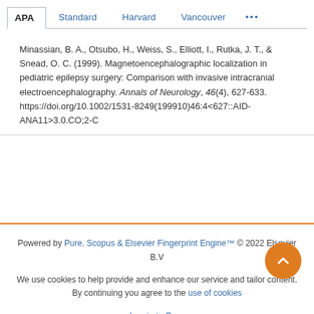APA  Standard  Harvard  Vancouver  ...
Minassian, B. A., Otsubo, H., Weiss, S., Elliott, I., Rutka, J. T., & Snead, O. C. (1999). Magnetoencephalographic localization in pediatric epilepsy surgery: Comparison with invasive intracranial electroencephalography. Annals of Neurology, 46(4), 627-633. https://doi.org/10.1002/1531-8249(199910)46:4<627::AID-ANA11>3.0.CO;2-C
Powered by Pure, Scopus & Elsevier Fingerprint Engine™ © 2022 Elsevier B.V
We use cookies to help provide and enhance our service and tailor content. By continuing you agree to the use of cookies
Log in to Pure